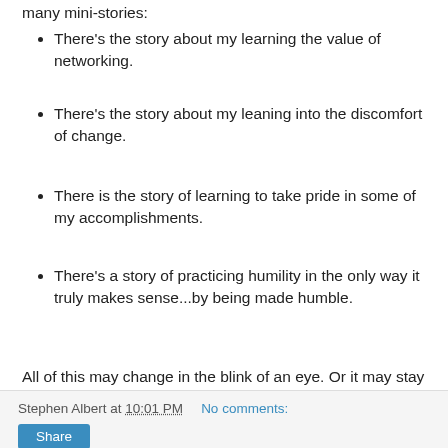many mini-stories:
There's the story about my learning the value of networking.
There's the story about my leaning into the discomfort of change.
There is the story of learning to take pride in some of my accomplishments.
There's a story of practicing humility in the only way it truly makes sense...by being made humble.
All of this may change in the blink of an eye.  Or it may stay the same for the next ten years.  One thing is for sure though:  There is more to be learned.
Stephen Albert at 10:01 PM  No comments:  Share